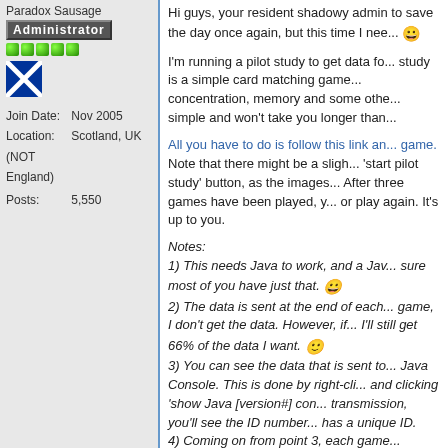Paradox Sausage
Administrator
Join Date: Nov 2005
Location: Scotland, UK (NOT England)
Posts: 5,550
Hi guys, your resident shadowy admin to save the day once again, but this time I nee...
I'm running a pilot study to get data fo... study is a simple card matching game... concentration, memory and some othe... simple and won't take you longer than...
All you have to do is follow this link an... game. Note that there might be a sligh... 'start pilot study' button, as the images... After three games have been played, y... or play again. It's up to you.
Notes:
1) This needs Java to work, and a Jav... sure most of you have just that.
2) The data is sent at the end of each... game, I don't get the data. However, if... I'll still get 66% of the data I want.
3) You can see the data that is sent to... Java Console. This is done by right-cli... and clicking 'show Java [version#] con... transmission, you'll see the ID number... has a unique ID.
4) Coming on from point 3, each game... without distractions. If you get distract... skew my results. If for any reason you...